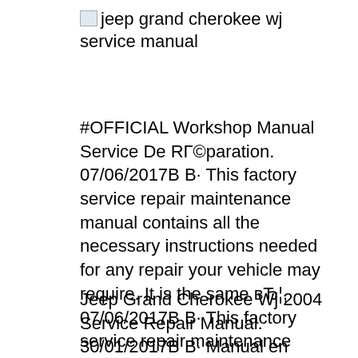[Figure (logo): Broken image placeholder for jeep grand cherokee wj service manual logo]
#OFFICIAL Workshop Manual Service De RГ©paration. 07/06/2017В В· This factory service repair maintenance manual contains all the necessary instructions needed for any repair your vehicle may require. It is the same вЂ¦, 07/06/2017В В· This factory service repair maintenance manual contains all the necessary instructions needed for any repair your vehicle may require. It is the same вЂ¦.
Jeep Grand Cherokee Wj 2004 Service Repair Manual. 30/01/2017В В· Manual en espaГ±ol, e ingles, para la